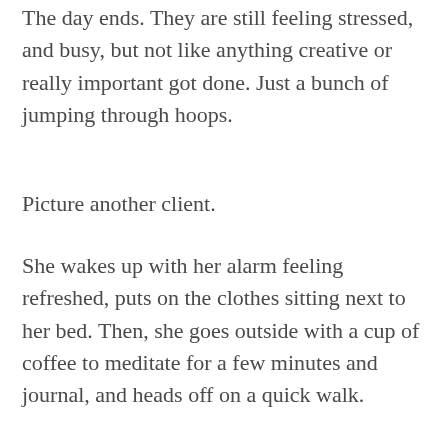The day ends. They are still feeling stressed, and busy, but not like anything creative or really important got done. Just a bunch of jumping through hoops.
Picture another client.
She wakes up with her alarm feeling refreshed, puts on the clothes sitting next to her bed. Then, she goes outside with a cup of coffee to meditate for a few minutes and journal, and heads off on a quick walk.